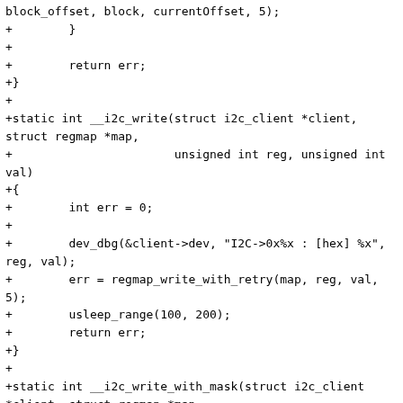block_offset, block, currentOffset, 5);
+        }
+
+        return err;
+}
+
+static int __i2c_write(struct i2c_client *client, struct regmap *map,
+                       unsigned int reg, unsigned int val)
+{
+        int err = 0;
+
+        dev_dbg(&client->dev, "I2C->0x%x : [hex] %x", reg, val);
+        err = regmap_write_with_retry(map, reg, val, 5);
+        usleep_range(100, 200);
+        return err;
+}
+
+static int __i2c_write_with_mask(struct i2c_client *client, struct regmap *map,
+                                  unsigned int reg, u8 val, u8 original, u8 mask)
+{
+        return __i2c_write(client, map, reg,
+                           ((val << __renesas_bits_to_shift(mask)) & mask) | (original & ~mask));